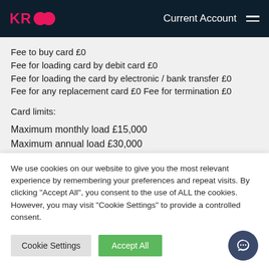KR Current Account
Fee to buy card £0
Fee for loading card by debit card £0
Fee for loading the card by electronic / bank transfer £0
Fee for any replacement card £0 Fee for termination £0
Card limits:
Maximum monthly load £15,000
Maximum annual load £30,000
Maximum single card payment £3,750
We use cookies on our website to give you the most relevant experience by remembering your preferences and repeat visits. By clicking "Accept All", you consent to the use of ALL the cookies. However, you may visit "Cookie Settings" to provide a controlled consent.
Cookie Settings | Accept All